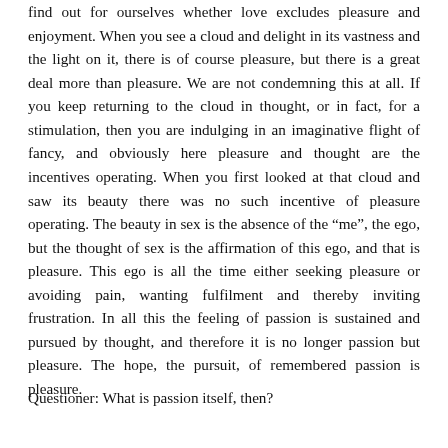find out for ourselves whether love excludes pleasure and enjoyment. When you see a cloud and delight in its vastness and the light on it, there is of course pleasure, but there is a great deal more than pleasure. We are not condemning this at all. If you keep returning to the cloud in thought, or in fact, for a stimulation, then you are indulging in an imaginative flight of fancy, and obviously here pleasure and thought are the incentives operating. When you first looked at that cloud and saw its beauty there was no such incentive of pleasure operating. The beauty in sex is the absence of the “me”, the ego, but the thought of sex is the affirmation of this ego, and that is pleasure. This ego is all the time either seeking pleasure or avoiding pain, wanting fulfilment and thereby inviting frustration. In all this the feeling of passion is sustained and pursued by thought, and therefore it is no longer passion but pleasure. The hope, the pursuit, of remembered passion is pleasure.
Questioner: What is passion itself, then?